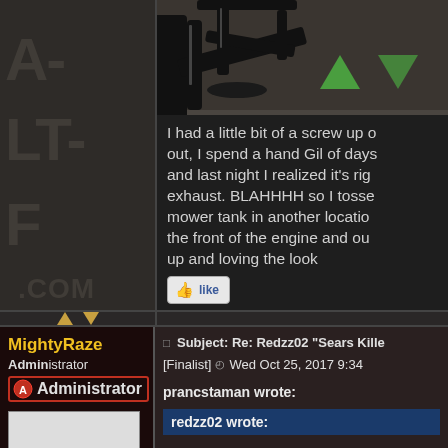[Figure (photo): Photo of a black bicycle/vehicle frame part, with green upvote and downvote arrow buttons visible]
I had a little bit of a screw up out, I spend a hand Gil of days and last night I realized it's rig exhaust. BLAHHHH so I tosse mower tank in another locatio the front of the engine and ou up and loving the look
[Figure (other): Like button with thumbs up icon]
[Figure (other): Navigation arrows (up/down) in gold color]
MightyRaze
Administrator
Administrator
Subject: Re: Redzz02 "Sears Kille [Finalist]   Wed Oct 25, 2017 9:34
prancstaman wrote:
redzz02 wrote: